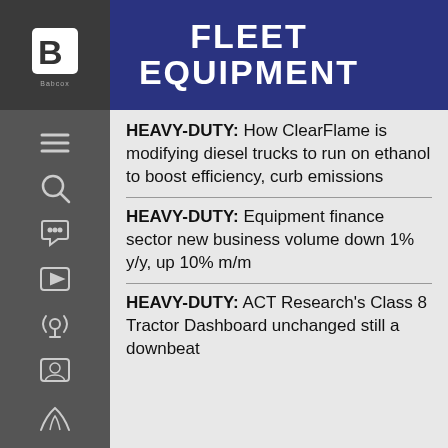FLEET EQUIPMENT
HEAVY-DUTY: How ClearFlame is modifying diesel trucks to run on ethanol to boost efficiency, curb emissions
HEAVY-DUTY: Equipment finance sector new business volume down 1% y/y, up 10% m/m
HEAVY-DUTY: ACT Research's Class 8 Tractor Dashboard unchanged still a downbeat